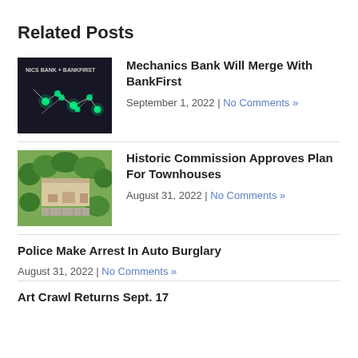Related Posts
[Figure (photo): Bank merger graphic showing 'NICS BANK + BANKFIRST' logo with dark background and green glowing map markers]
Mechanics Bank Will Merge With BankFirst
September 1, 2022 | No Comments »
[Figure (photo): Aerial photograph of townhouses and buildings surrounded by trees]
Historic Commission Approves Plan For Townhouses
August 31, 2022 | No Comments »
Police Make Arrest In Auto Burglary
August 31, 2022 | No Comments »
Art Crawl Returns Sept. 17